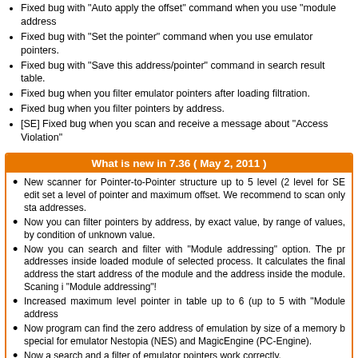Fixed bug with "Auto apply the offset" command when you use "module address...
Fixed bug with "Set the pointer" command when you use emulator pointers.
Fixed bug with "Save this address/pointer" command in search result table.
Fixed bug when you filter emulator pointers after loading filtration.
Fixed bug when you filter pointers by address.
[SE] Fixed bug when you scan and receive a message about "Access Violation"...
What is new in 7.36 ( May 2, 2011 )
New scanner for Pointer-to-Pointer structure up to 5 level (2 level for SE edit... set a level of pointer and maximum offset. We recommend to scan only sta... addresses.
Now you can filter pointers by address, by exact value, by range of values, by... condition of unknown value.
Now you can search and filter with "Module addressing" option. The pr... addresses inside loaded module of selected process. It calculates the final address... the start address of the module and the address inside the module. Scaning i... "Module addressing"!
Increased maximum level pointer in table up to 6 (up to 5 with "Module address...
Now program can find the zero address of emulation by size of a memory b... special for emulator Nestopia (NES) and MagicEngine (PC-Engine).
Now a search and a filter of emulator pointers work correctly.
Now "Add to the table" command adds all selected cells.
Fixed bug when "Undo the filtration", "Redo the filtration", "Save the filtratio... filtration" commands doesn't work correctly if you search few times with different m...
Fixed bug when emulator addresses added to the table as usual memory addre...
Fixed bug with "Search the pointer to beginning of memory block" command.
[PRO] Fixed bug when you filter by formula and receive incorrectly types of valu...
Was added portuguese-BR language plug-in.